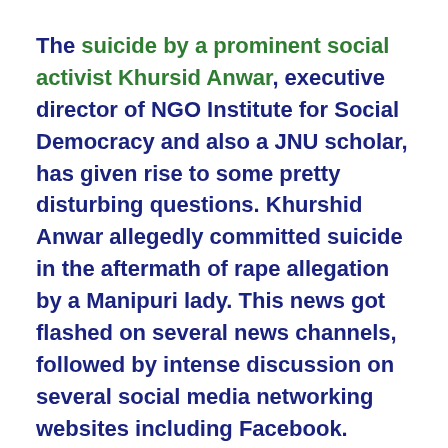The suicide by a prominent social activist Khursid Anwar, executive director of NGO Institute for Social Democracy and also a JNU scholar, has given rise to some pretty disturbing questions. Khurshid Anwar allegedly committed suicide in the aftermath of rape allegation by a Manipuri lady. This news got flashed on several news channels, followed by intense discussion on several social media networking websites including Facebook. Unable to bear this unwarranted media trial, this well known social activist committed suicide by jumping from his third floor residence in Vasant Kunj, New Delhi, on December 18, 2013. As per suicide note found at his home it was not a rape but consensual sex.

This tragic incident reminds me of suicide committed